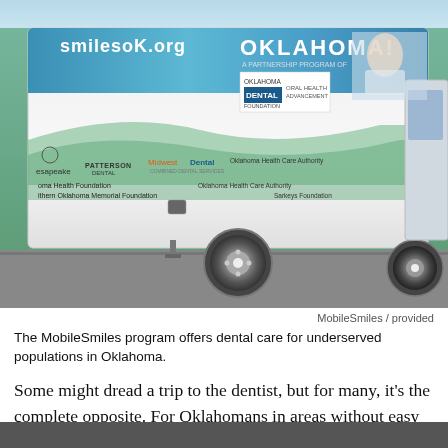[Figure (photo): A MobileSmiles mobile dental clinic bus parked in a lot. The bus is wrapped in blue and green graphics with sponsor logos including Patterson Dental, Midwest Dental, Chesapeake, Oklahoma Health Foundation, Oklahoma Health Care Authority, Northern Oklahoma Memorial Foundation, and Sarkeys Foundation. Text on the bus reads 'smilesoK.org' and 'OKLAHOMA!' with dental care program branding.]
MobileSmiles / provided
The MobileSmiles program offers dental care for underserved populations in Oklahoma.
Some might dread a trip to the dentist, but for many, it’s the complete opposite. For Oklahomans in areas without easy access to dental care, going to the dentist might not even be a possibility. Thanks to MobileSmiles Oklahoma,